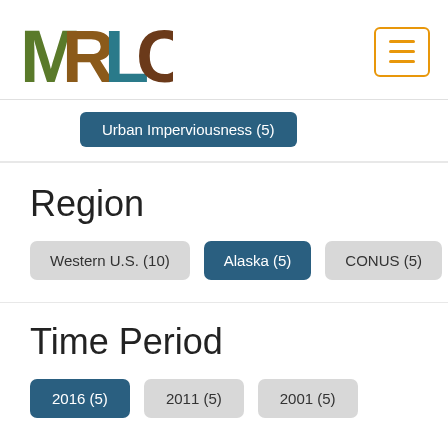[Figure (logo): MRLC logo with nature-themed letters M, R, L, C filled with forest/water/earth imagery]
Urban Imperviousness (5)
Region
Western U.S. (10)
Alaska (5)
CONUS (5)
Time Period
2016 (5)
2011 (5)
2001 (5)